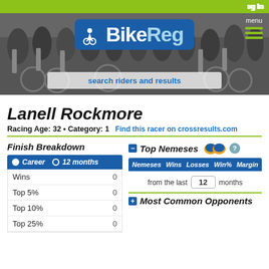Log In
[Figure (screenshot): BikeReg website header with cycling crowd background, BikeReg logo, menu icon, and search bar reading 'search riders and results']
Lanell Rockmore
Racing Age: 32 • Category: 1   Find this racer on crossresults.com
Finish Breakdown
|  |  |
| --- | --- |
| Wins | 0 |
| Top 5% | 0 |
| Top 10% | 0 |
| Top 25% | 0 |
Top Nemeses
| Nemeses | Wins | Losses | Win% | Margin |
| --- | --- | --- | --- | --- |
from the last 12 months
Most Common Opponents